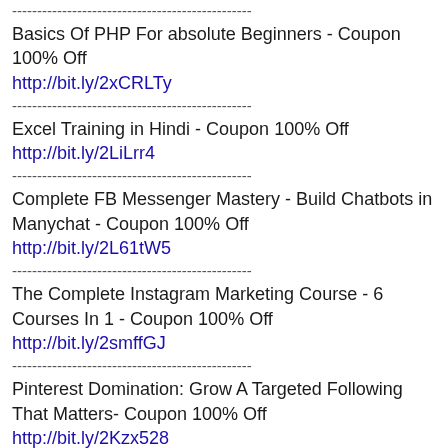Basics Of PHP For absolute Beginners - Coupon 100% Off
http://bit.ly/2xCRLTy
Excel Training in Hindi - Coupon 100% Off
http://bit.ly/2LiLrr4
Complete FB Messenger Mastery - Build Chatbots in Manychat - Coupon 100% Off
http://bit.ly/2L61tW5
The Complete Instagram Marketing Course - 6 Courses In 1 - Coupon 100% Off
http://bit.ly/2smffGJ
Pinterest Domination: Grow A Targeted Following That Matters- Coupon 100% Off
http://bit.ly/2Kzx528